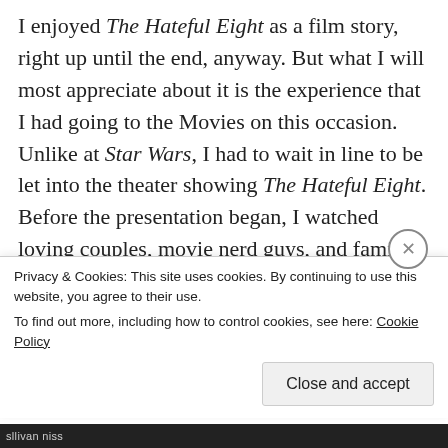I enjoyed The Hateful Eight as a film story, right up until the end, anyway. But what I will most appreciate about it is the experience that I had going to the Movies on this occasion. Unlike at Star Wars, I had to wait in line to be let into the theater showing The Hateful Eight. Before the presentation began, I watched loving couples, movie nerd guys, and families with teenage or young adult children snap photos of themselves holding up the souvenir program. It was clear that I was a part of something big, something made for fans of Tarantino and for fans of cinema. I was glad that I had plunked down
Privacy & Cookies: This site uses cookies. By continuing to use this website, you agree to their use.
To find out more, including how to control cookies, see here: Cookie Policy
Close and accept